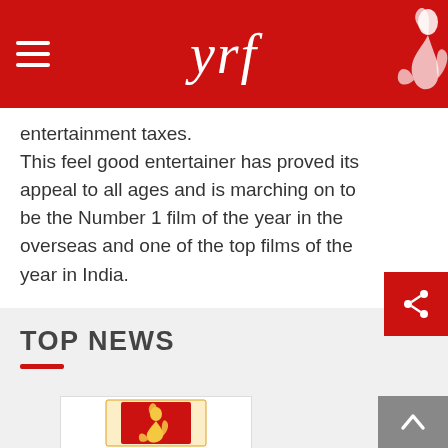yrf
entertainment taxes.
This feel good entertainer has proved its appeal to all ages and is marching on to be the Number 1 film of the year in the overseas and one of the top films of the year in India.
TOP NEWS
[Figure (logo): YRF (Yash Raj Films) logo in a card at the bottom of the page]